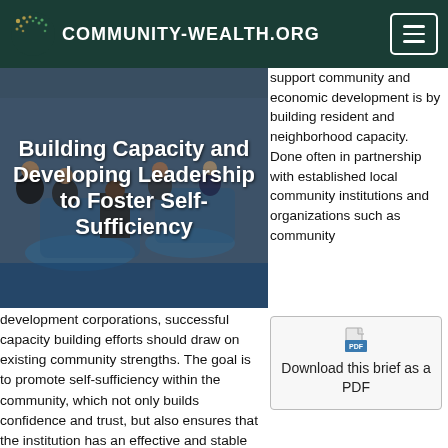COMMUNITY-WEALTH.ORG
Building Capacity and Developing Leadership to Foster Self-Sufficiency
support community and economic development is by building resident and neighborhood capacity. Done often in partnership with established local community institutions and organizations such as community
[Figure (other): Download this brief as a PDF icon/link]
development corporations, successful capacity building efforts should draw on existing community strengths. The goal is to promote self-sufficiency within the community, which not only builds confidence and trust, but also ensures that the institution has an effective and stable local partner. Well-organized local organizations with skilled leaders are better